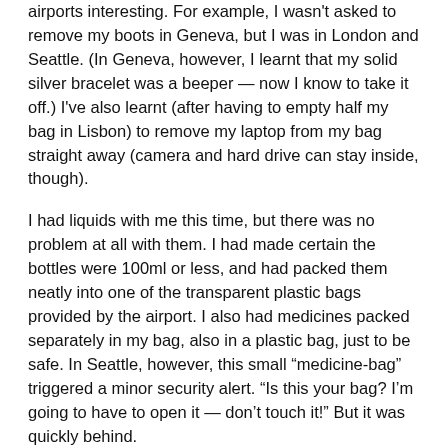airports interesting. For example, I wasn't asked to remove my boots in Geneva, but I was in London and Seattle. (In Geneva, however, I learnt that my solid silver bracelet was a beeper — now I know to take it off.) I've also learnt (after having to empty half my bag in Lisbon) to remove my laptop from my bag straight away (camera and hard drive can stay inside, though).
I had liquids with me this time, but there was no problem at all with them. I had made certain the bottles were 100ml or less, and had packed them neatly into one of the transparent plastic bags provided by the airport. I also had medicines packed separately in my bag, also in a plastic bag, just to be safe. In Seattle, however, this small “medicine-bag” triggered a minor security alert. “Is this your bag? I’m going to have to open it — don’t touch it!” But it was quickly behind.
Upon arriving in Seattle, I was surprised that they X-rayed (and sometimes dug through) incoming luggage.
But I digress. Back to the flight. I made a rather painful mistake on the Geneva-Heathrow leg of my journey. After sitting down in the plane and getting organised (book, iPod, starting to know the drill) I realised I needed to go to the loo. Remember that big bottle I had bought at the station? Well, I managed to finish it (with difficulty) before going through security. 1.5 litres. *And* twice 500ml of lassi-yoghurty stuff